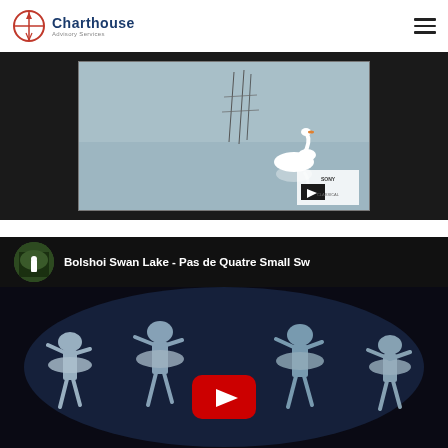Charthouse Advisory Services
[Figure (screenshot): Video thumbnail showing a swan on a calm lake with Sony Classical watermark]
[Figure (screenshot): YouTube video embed: Bolshoi Swan Lake - Pas de Quatre Small Sw, showing ballet dancers with a YouTube play button overlay]